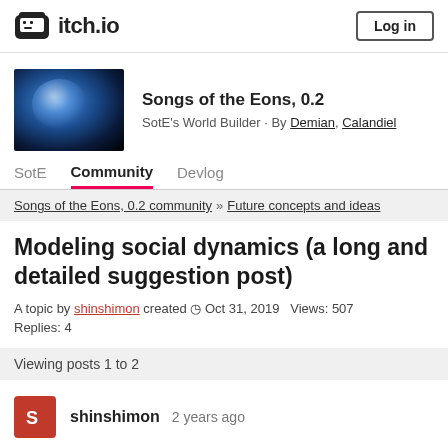itch.io  Log in
[Figure (photo): Earth globe thumbnail for Songs of the Eons game]
Songs of the Eons, 0.2
SotE's World Builder · By Demian, Calandiel
SotE   Community   Devlog
Songs of the Eons, 0.2 community » Future concepts and ideas
Modeling social dynamics (a long and detailed suggestion post)
A topic by shinshimon created ◷ Oct 31, 2019   Views: 507
Replies: 4
Viewing posts 1 to 2
shinshimon  2 years ago